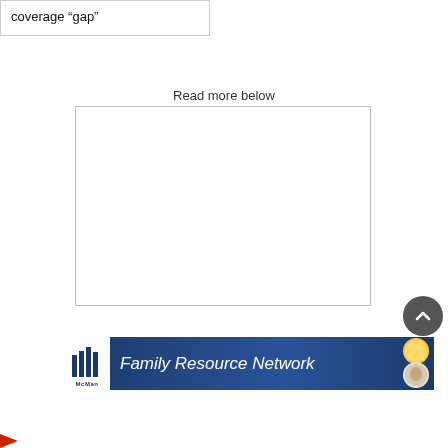coverage “gap”
Read more below
[Figure (other): Empty white advertisement box with border]
[Figure (other): McMan Family Resource Network banner advertisement with dark blue background, logo on left, italic white text, and circular family photos on right]
[Figure (other): Dark gray circle scroll-to-top button with upward chevron arrow]